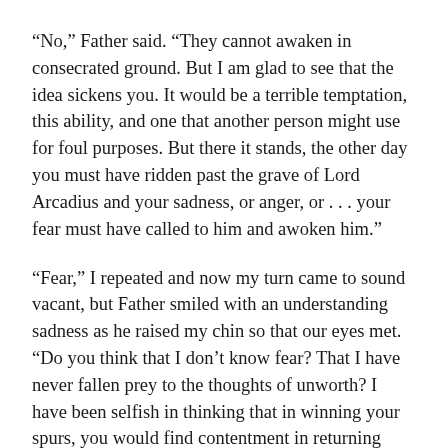“No,” Father said. “They cannot awaken in consecrated ground. But I am glad to see that the idea sickens you. It would be a terrible temptation, this ability, and one that another person might use for foul purposes. But there it stands, the other day you must have ridden past the grave of Lord Arcadius and your sadness, or anger, or . . . your fear must have called to him and awoken him.”
“Fear,” I repeated and now my turn came to sound vacant, but Father smiled with an understanding sadness as he raised my chin so that our eyes met. “Do you think that I don’t know fear? That I have never fallen prey to the thoughts of unworth? I have been selfish in thinking that in winning your spurs, you would find contentment in returning here to chase wild topiaries. Forgive me.”
“Of course I forgive you,” I said. “And I am sorry if I have